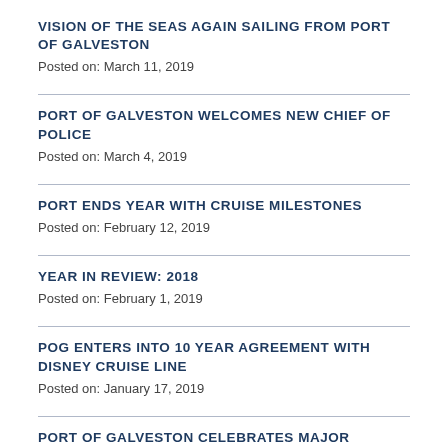VISION OF THE SEAS AGAIN SAILING FROM PORT OF GALVESTON
Posted on: March 11, 2019
PORT OF GALVESTON WELCOMES NEW CHIEF OF POLICE
Posted on: March 4, 2019
PORT ENDS YEAR WITH CRUISE MILESTONES
Posted on: February 12, 2019
YEAR IN REVIEW: 2018
Posted on: February 1, 2019
POG ENTERS INTO 10 YEAR AGREEMENT WITH DISNEY CRUISE LINE
Posted on: January 17, 2019
PORT OF GALVESTON CELEBRATES MAJOR MILESTONE